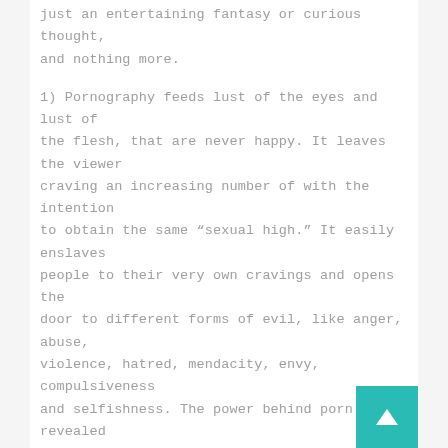just an entertaining fantasy or curious thought, and nothing more.
1) Pornography feeds lust of the eyes and lust of the flesh, that are never happy. It leaves the viewer craving an increasing number of with the intention to obtain the same “sexual high.” It easily enslaves people to their very own cravings and opens the door to different forms of evil, like anger, abuse, violence, hatred, mendacity, envy, compulsiveness and selfishness. The power behind porn is revealed when the porn addict tries to cease their habit – it’s nearly inconceivable with out help.
I have slipped however I’m getting proper back up. After all it’s referred to as the combat of religion”